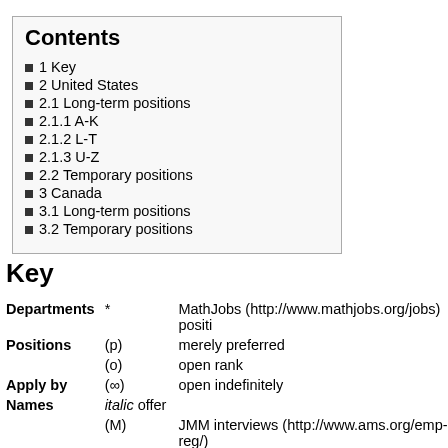Contents
1 Key
2 United States
2.1 Long-term positions
2.1.1 A-K
2.1.2 L-T
2.1.3 U-Z
2.2 Temporary positions
3 Canada
3.1 Long-term positions
3.2 Temporary positions
Key
| Category | Symbol | Description |
| --- | --- | --- |
| Departments | * | MathJobs (http://www.mathjobs.org/jobs) positi |
| Positions | (p) | merely preferred |
|  | (o) | open rank |
| Apply by | (∞) | open indefinitely |
| Names | italic offer |  |
|  | (M) | JMM interviews (http://www.ams.org/emp-reg/) |